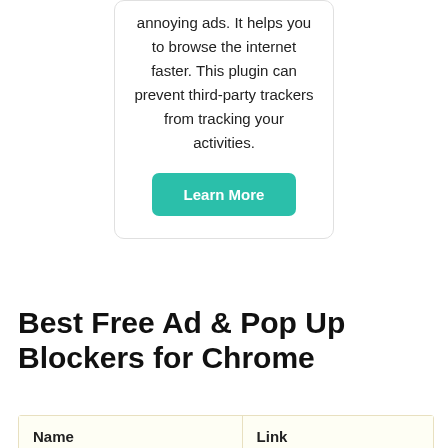annoying ads. It helps you to browse the internet faster. This plugin can prevent third-party trackers from tracking your activities.
Learn More
Best Free Ad & Pop Up Blockers for Chrome
| Name | Link |
| --- | --- |